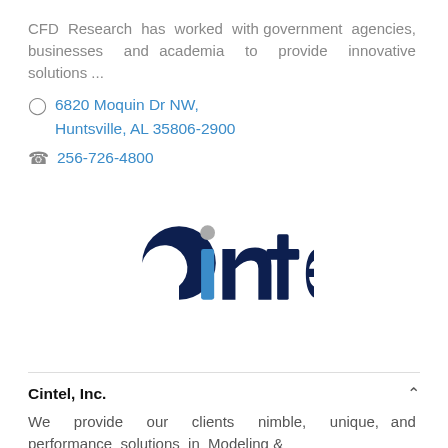CFD Research has worked with government agencies, businesses and academia to provide innovative solutions ...
6820 Moquin Dr NW, Huntsville, AL 35806-2900
256-726-4800
[Figure (logo): Cintel company logo with dark navy blue text and a blue 'i' with a grey dot above it]
Cintel, Inc.
We provide our clients nimble, unique, and performance solutions in Modeling &